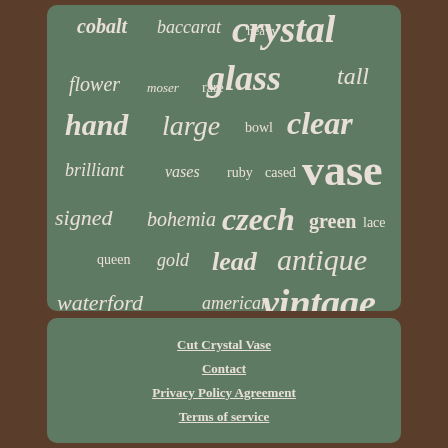[Figure (infographic): Word cloud on green background featuring crystal-related terms in various sizes: crystal (largest), glass, vase, vintage, antique, clear, czech, lead, hand, large, waterford, blue, signed, brilliant, waterford, american, bohemia, cobalt, baccarat, flower, queen, gold, green, lace, bowl, ruby, cased, vases, moser, rare, heavy, tall]
Cut Crystal Vase
Contact
Privacy Policy Agreement
Terms of service